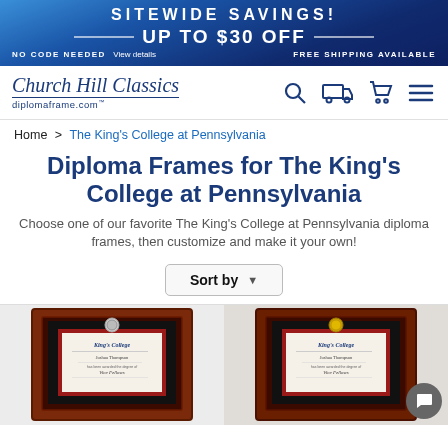SITEWIDE SAVINGS! UP TO $30 OFF — NO CODE NEEDED View details — FREE SHIPPING AVAILABLE
[Figure (logo): Church Hill Classics diplomaframe.com logo with navigation icons (search, truck, cart, menu)]
Home > The King's College at Pennsylvania
Diploma Frames for The King's College at Pennsylvania
Choose one of our favorite The King's College at Pennsylvania diploma frames, then customize and make it your own!
Sort by ▼
[Figure (photo): Two diploma frames for King's College displayed side by side. Left frame: dark mahogany frame with silver medallion and black matting with red inner mat, showing a diploma. Right frame: similar dark frame with gold medallion and black matting with red inner mat.]